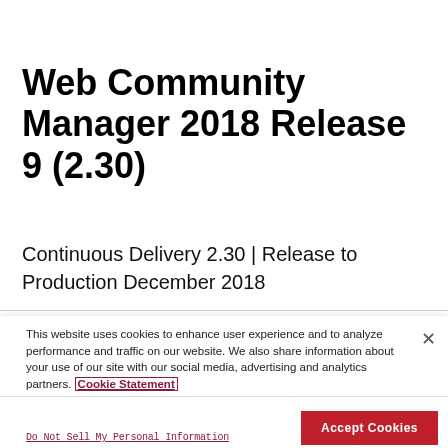Web Community Manager 2018 Release 9 (2.30)
Continuous Delivery 2.30 | Release to Production December 2018
This website uses cookies to enhance user experience and to analyze performance and traffic on our website. We also share information about your use of our site with our social media, advertising and analytics partners. Cookie Statement
Do Not Sell My Personal Information
Accept Cookies